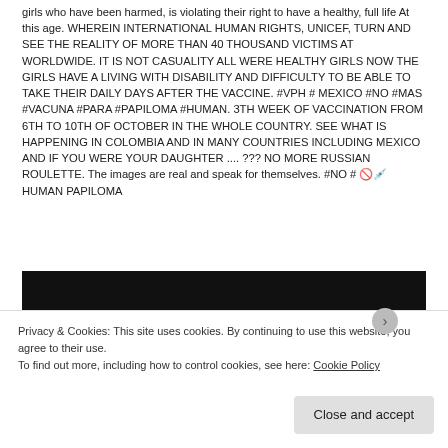girls who have been harmed, is violating their right to have a healthy, full life At this age. WHEREIN INTERNATIONAL HUMAN RIGHTS, UNICEF, TURN AND SEE THE REALITY OF MORE THAN 40 THOUSAND VICTIMS AT WORLDWIDE. IT IS NOT CASUALITY ALL WERE HEALTHY GIRLS NOW THE GIRLS HAVE A LIVING WITH DISABILITY AND DIFFICULTY TO BE ABLE TO TAKE THEIR DAILY DAYS AFTER THE VACCINE. #VPH # MEXICO #NO #MAS #VACUNA #PARA #PAPILOMA #HUMAN. 3TH WEEK OF VACCINATION FROM 6TH TO 10TH OF OCTOBER IN THE WHOLE COUNTRY. SEE WHAT IS HAPPENING IN COLOMBIA AND IN MANY COUNTRIES INCLUDING MEXICO AND IF YOU WERE YOUR DAUGHTER .... ??? NO MORE RUSSIAN ROULETTE. The images are real and speak for themselves. #NO # 🚫💉 HUMAN PAPILOMA
[Figure (screenshot): Black video player area with 'Video Unavailable' text displayed in white on a dark background]
Privacy & Cookies: This site uses cookies. By continuing to use this website, you agree to their use.
To find out more, including how to control cookies, see here: Cookie Policy
Close and accept